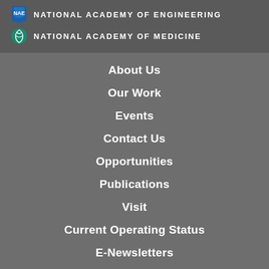[Figure (logo): National Academy of Engineering logo with shield icon]
NATIONAL ACADEMY OF ENGINEERING
[Figure (logo): National Academy of Medicine logo with leaf/spiral icon]
NATIONAL ACADEMY OF MEDICINE
About Us
Our Work
Events
Contact Us
Opportunities
Publications
Visit
Current Operating Status
E-Newsletters
Connect With Us